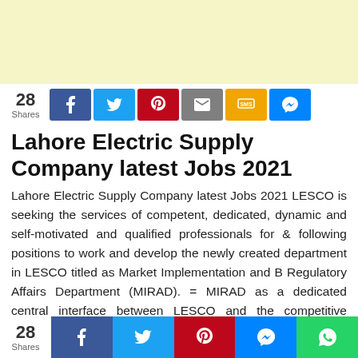[Figure (other): Yellow advertisement banner at the top of the page]
28 Shares [social share buttons: Facebook, Twitter, Pinterest, Email, SMS, Messenger]
Lahore Electric Supply Company latest Jobs 2021
Lahore Electric Supply Company latest Jobs 2021 LESCO is seeking the services of competent, dedicated, dynamic and self-motivated and qualified professionals for & following positions to work and develop the newly created department in LESCO titled as Market Implementation and B Regulatory Affairs Department (MIRAD). = MIRAD as a dedicated central interface between LESCO and the competitive electricity market
28 Shares [social share buttons bottom: Facebook, Twitter, Pinterest, Messenger, WhatsApp]